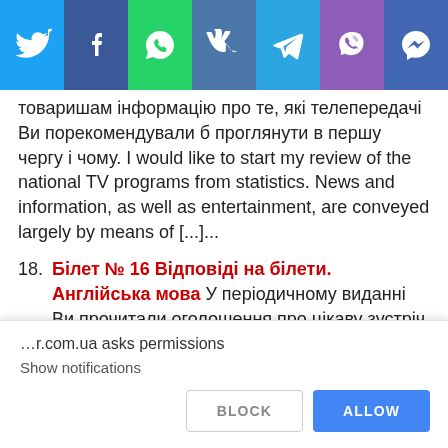[Figure (infographic): Social media share bar with icons: Twitter (blue), Facebook (dark blue), WhatsApp (green), VK (blue), Telegram (blue), Viber (purple), Messenger (blue)]
товаришам інформацію про те, які телепередачі Ви порекомендували б проглянути в першу чергу і чому. I would like to start my review of the national TV programs from statistics. News and information, as well as entertainment, are conveyed largely by means of [...]...
18. Білет № 16 Відповіді на білети. Англійська мова У періодичному виданні Ви прочитали оголошення про цікаву зустріч щодо здорового способу життя. Розкажіть своїм товаришам про
…r.com.ua asks permissions
Show notifications
BLOCK
ALLOW